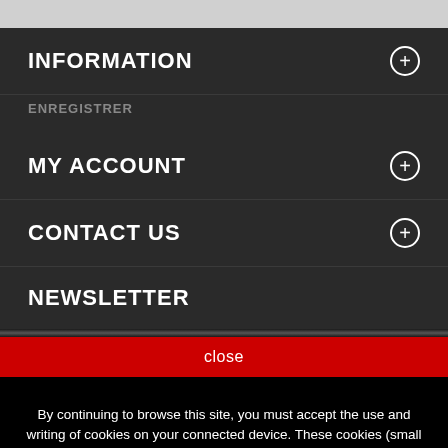INFORMATION
ENREGISTRER
MY ACCOUNT
CONTACT US
NEWSLETTER
close
By continuing to browse this site, you must accept the use and writing of cookies on your connected device. These cookies (small text files) allow you to track your browsing, refresh your shopping cart, recognize you on your next visit and secure your connection. Learn more....